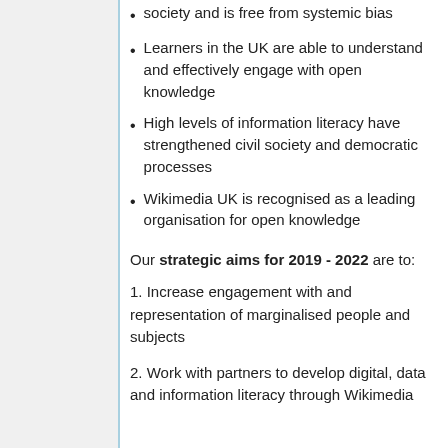society and is free from systemic bias
Learners in the UK are able to understand and effectively engage with open knowledge
High levels of information literacy have strengthened civil society and democratic processes
Wikimedia UK is recognised as a leading organisation for open knowledge
Our strategic aims for 2019 - 2022 are to:
1. Increase engagement with and representation of marginalised people and subjects
2. Work with partners to develop digital, data and information literacy through Wikimedia